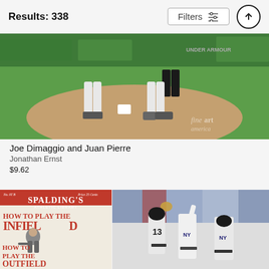Results: 338
[Figure (photo): Baseball photo showing players' legs/feet near a base on a field with green grass and dirt infield. Fine Art America watermark visible.]
Joe Dimaggio and Juan Pierre
Jonathan Ernst
$9.62
[Figure (illustration): Spalding's Athletic Library book cover - 'How to Play the Infield' and 'How to Play the Outfield' with illustrated baseball player figure on reddish/cream background]
[Figure (photo): New York Yankees players celebrating, player number 13 high-fiving teammates in pinstripe uniforms with crowd in background]